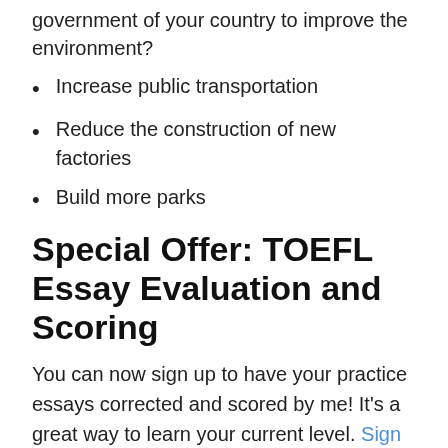government of your country to improve the environment?
Increase public transportation
Reduce the construction of new factories
Build more parks
Special Offer: TOEFL Essay Evaluation and Scoring
You can now sign up to have your practice essays corrected and scored by me!  It's a great way to learn your current level. Sign up today.
The Sample Essay